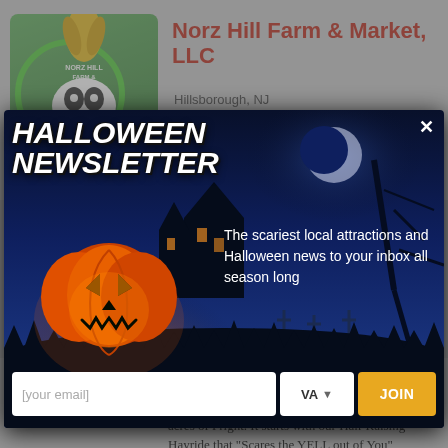[Figure (screenshot): Norz Hill Farm & Market listing page with logo image showing a green circular design with farm characters]
Norz Hill Farm & Market, LLC
Hillsborough, NJ
[Figure (other): 4 filled black stars rating]
[Figure (screenshot): Halloween Newsletter popup modal with night scene background, glowing pumpkin, spooky castle, and signup form]
HALLOWEEN NEWSLETTER
The scariest local attractions and Halloween news to your inbox all season long
[your email]
VA
JOIN
[Figure (other): 4.5 star rating below the modal]
Spend 45 minutes making your way through 200+ acres of Fright. It starts with our Hair Raising Hayride that "Scares the YELL out of You",